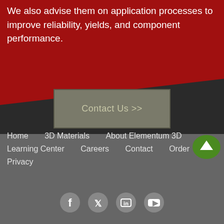We also advise them on application processes to improve reliability, yields, and component performance.
[Figure (other): Contact Us >> button — a rectangular grey button with the label 'Contact Us >>']
Home   3D Materials   About Elementum 3D
Learning Center   Careers   Contact   Order
Privacy
[Figure (other): Social media icons: Facebook, Twitter, LinkedIn, YouTube]